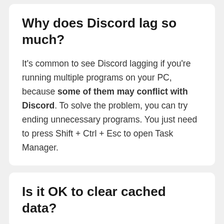Why does Discord lag so much?
It's common to see Discord lagging if you're running multiple programs on your PC, because some of them may conflict with Discord. To solve the problem, you can try ending unnecessary programs. You just need to press Shift + Ctrl + Esc to open Task Manager.
Is it OK to clear cached data?